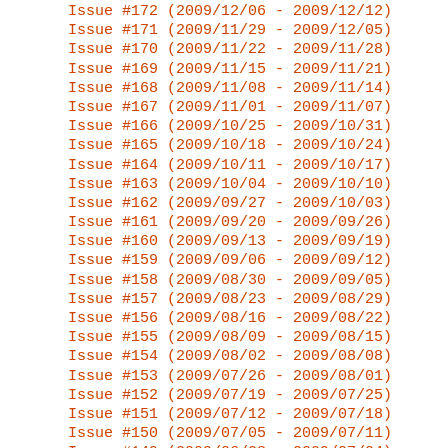Issue #172 (2009/12/06 - 2009/12/12)
Issue #171 (2009/11/29 - 2009/12/05)
Issue #170 (2009/11/22 - 2009/11/28)
Issue #169 (2009/11/15 - 2009/11/21)
Issue #168 (2009/11/08 - 2009/11/14)
Issue #167 (2009/11/01 - 2009/11/07)
Issue #166 (2009/10/25 - 2009/10/31)
Issue #165 (2009/10/18 - 2009/10/24)
Issue #164 (2009/10/11 - 2009/10/17)
Issue #163 (2009/10/04 - 2009/10/10)
Issue #162 (2009/09/27 - 2009/10/03)
Issue #161 (2009/09/20 - 2009/09/26)
Issue #160 (2009/09/13 - 2009/09/19)
Issue #159 (2009/09/06 - 2009/09/12)
Issue #158 (2009/08/30 - 2009/09/05)
Issue #157 (2009/08/23 - 2009/08/29)
Issue #156 (2009/08/16 - 2009/08/22)
Issue #155 (2009/08/09 - 2009/08/15)
Issue #154 (2009/08/02 - 2009/08/08)
Issue #153 (2009/07/26 - 2009/08/01)
Issue #152 (2009/07/19 - 2009/07/25)
Issue #151 (2009/07/12 - 2009/07/18)
Issue #150 (2009/07/05 - 2009/07/11)
Issue #149 (2009/06/28 - 2009/07/04)